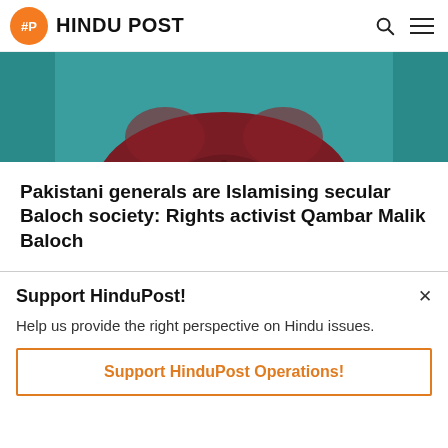HINDU POST
[Figure (photo): Partial view of a person wearing a dark red/maroon polo shirt against a teal/green background]
Pakistani generals are Islamising secular Baloch society: Rights activist Qambar Malik Baloch
Support HinduPost!
Help us provide the right perspective on Hindu issues.
Support HinduPost Operations!